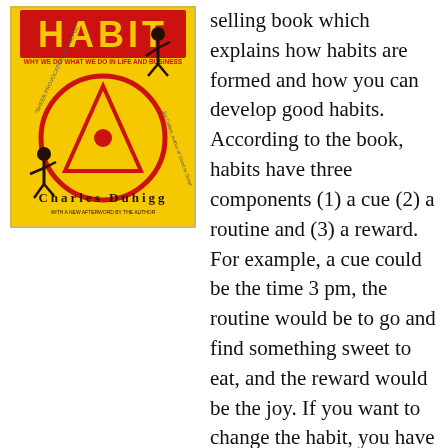[Figure (illustration): Book cover of 'The Power of Habit' by Charles Duhigg. Yellow background with red circular wheel graphic, stick figures, and subtitle 'Why we do what we do in life and business'.]
selling book which explains how habits are formed and how you can develop good habits. According to the book, habits have three components (1) a cue (2) a routine and (3) a reward. For example, a cue could be the time 3 pm, the routine would be to go and find something sweet to eat, and the reward would be the joy. If you want to change the habit, you have to realize these components. After that, you can change by keeping the same cue and reward, but by changing the routine. Thus instead of downing chocolates, you can go for a walk. (Read a detailed review of the book or listen to a podcast with the author)